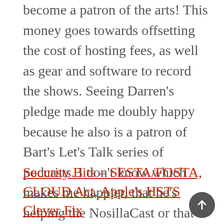become a patron of the arts! This money goes towards offsetting the cost of hosting fees, as well as gear and software to record the shows. Seeing Darren's pledge made me doubly happy because he also is a patron of Bart's Let's Talk series of podcasts. I don't know which makes me happier, that he's helping the NosillaCast or that he's helping Bart! I think I'll go with both. If you too want to give a little value back to the shows, head over to podfeet.com/patreon.
Security Bits – SESTA/FOSTA, CLOUD Act, Apple's HSTS Clever Fix
That's going to wind this up for this week. Don't